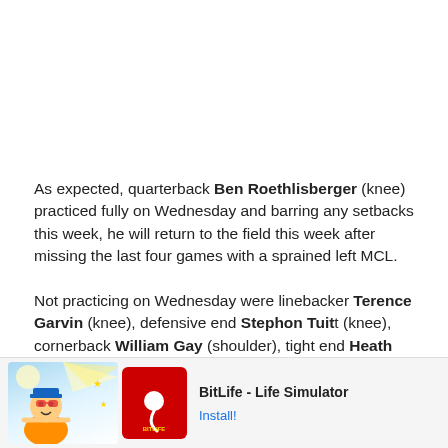As expected, quarterback Ben Roethlisberger (knee) practiced fully on Wednesday and barring any setbacks this week, he will return to the field this week after missing the last four games with a sprained left MCL.
Not practicing on Wednesday were linebacker Terence Garvin (knee), defensive end Stephon Tuitt (knee), cornerback William Gay (shoulder), tight end Heath Miller (not injury related), tight end Matt Spaeth (not injury related).
[Figure (other): Advertisement banner for BitLife - Life Simulator mobile app with Ad label, illustrated character graphic, app icon, and Install button]